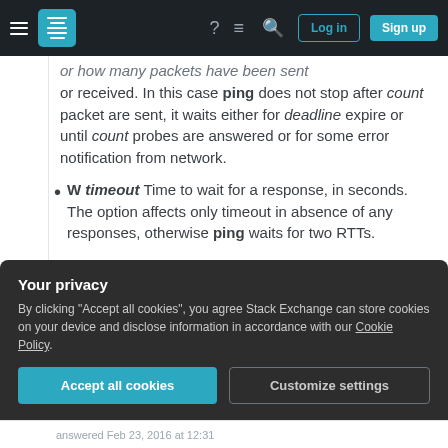Stack Exchange navigation bar with hamburger menu, logo, help icon, chat icon, search icon, Log in button, Sign up button
or how many packets have been sent or received. In this case ping does not stop after count packet are sent, it waits either for deadline expire or until count probes are answered or for some error notification from network.
W timeout Time to wait for a response, in seconds. The option affects only timeout in absence of any responses, otherwise ping waits for two RTTs.
Your privacy
By clicking "Accept all cookies", you agree Stack Exchange can store cookies on your device and disclose information in accordance with our Cookie Policy.
Accept all cookies | Customize settings
answered Feb 23, 2016 at 12:31